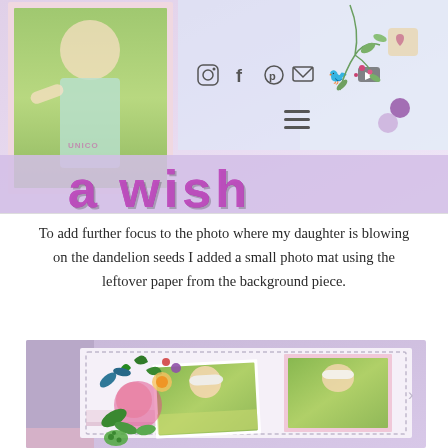[Figure (photo): Top portion of a craft/scrapbooking blog page showing a photo of a girl in a light blue shirt against a green outdoor background, social media icons (Instagram, Facebook, Pinterest, email, Twitter, YouTube), a hamburger menu icon, floral decorations, heart and circle embellishments, and large pink/magenta letters spelling 'a wish' in a decorative font strip.]
To add further focus to the photo where my daughter is blowing on the dandelion seeds I added a small photo mat using the leftover paper from the background piece.
[Figure (photo): Bottom scrapbook layout photo showing a girl wearing a white hat, with colorful floral die-cut embellishments, multiple photos of the same girl looking down, arranged on a white stitched background with a purple/lavender left border strip and striped paper accents.]